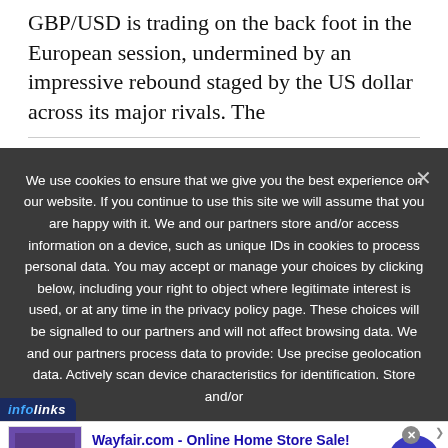GBP/USD is trading on the back foot in the European session, undermined by an impressive rebound staged by the US dollar across its major rivals. The
We use cookies to ensure that we give you the best experience on our website. If you continue to use this site we will assume that you are happy with it. We and our partners store and/or access information on a device, such as unique IDs in cookies to process personal data. You may accept or manage your choices by clicking below, including your right to object where legitimate interest is used, or at any time in the privacy policy page. These choices will be signalled to our partners and will not affect browsing data. We and our partners process data to provide: Use precise geolocation data. Actively scan device characteristics for identification. Store and/or
[Figure (screenshot): Wayfair.com online advertisement banner showing bedroom furniture image, ad title 'Wayfair.com - Online Home Store Sale!', subtitle 'Shop for A Zillion Things Home across all styles at Wayfair!', URL www.wayfair.com, and a blue circular arrow button. Infolinks logo in bottom left corner.]